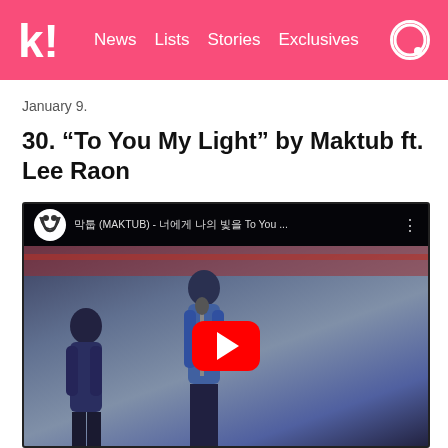k! News Lists Stories Exclusives
January 9.
30. “To You My Light” by Maktub ft. Lee Raon
[Figure (screenshot): YouTube video embed showing Warner Music Korea video titled: 마큭툭 (MAKTUB) - 너에게 나의 빛을 To You ... with two people standing outdoors with a red play button overlay]